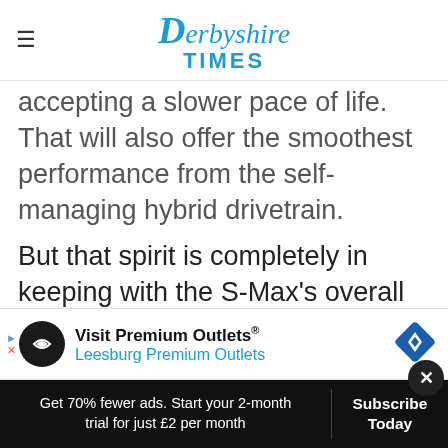Derbyshire Times
accepting a slower pace of life. That will also offer the smoothest performance from the self-managing hybrid drivetrain.
But that spirit is completely in keeping with the S-Max's overall feel. It isn't a car you'll buy with your heart but it is an eminently sensible choice. It's boring to look at, good to drive only in the context of the alternatives and hardly cheap.
But f... for its mi... place of practicality and sensibly.
[Figure (screenshot): Advertisement banner for Visit Premium Outlets / Leesburg Premium Outlets with logo and diamond navigation icon]
Get 70% fewer ads. Start your 2-month trial for just £2 per month
Subscribe Today